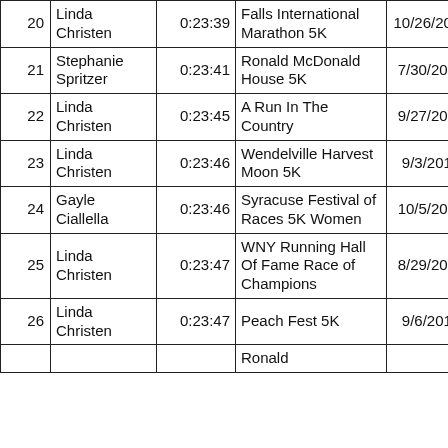| # | Name | Time | Race | Date | N1 | N2 |
| --- | --- | --- | --- | --- | --- | --- |
| 20 | Linda Christen | 0:23:39 | Falls International Marathon 5K | 10/26/2014 | 31 | 7 |
| 21 | Stephanie Spritzer | 0:23:41 | Ronald McDonald House 5K | 7/30/2014 | 185 | 45 |
| 22 | Linda Christen | 0:23:45 | A Run In The Country | 9/27/2014 | 48 | 9 |
| 23 | Linda Christen | 0:23:46 | Wendelville Harvest Moon 5K | 9/3/2014 | 67 | 13 |
| 24 | Gayle Ciallella | 0:23:46 | Syracuse Festival of Races 5K Women | 10/5/2014 | 69 | 69 |
| 25 | Linda Christen | 0:23:47 | WNY Running Hall Of Fame Race of Champions | 8/29/2014 | 135 | 42 |
| 26 | Linda Christen | 0:23:47 | Peach Fest 5K | 9/6/2014 | 63 | 14 |
| 27 |  |  | Ronald |  |  |  |